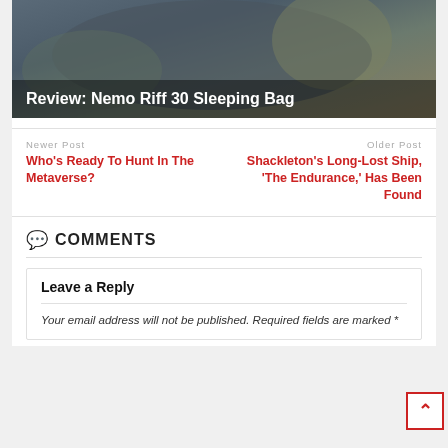[Figure (photo): Person in a grey sleeping bag with a Nemo logo, overlaid with the text 'Review: Nemo Riff 30 Sleeping Bag']
Newer Post
Who's Ready To Hunt In The Metaverse?
Older Post
Shackleton's Long-Lost Ship, 'The Endurance,' Has Been Found
COMMENTS
Leave a Reply
Your email address will not be published. Required fields are marked *